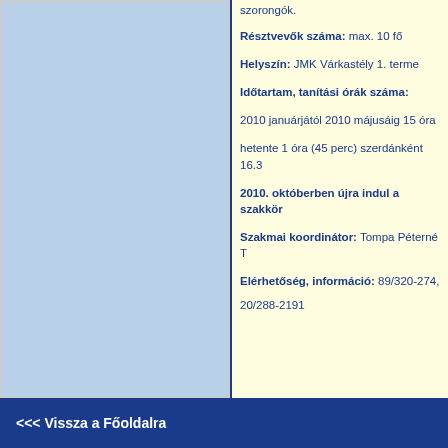szorongók.
Résztvevők száma: max. 10 fő
Helyszín: JMK Várkastély 1. terme
Időtartam, tanítási órák száma:
2010 januárjától 2010 májusáig 15 óra
hetente 1 óra (45 perc) szerdánként 16.3
2010. októberben újra indul a szakkör
Szakmai koordinátor: Tompa Péterné T
Elérhetőség, információ: 89/320-274,
20/288-2191
<<< Vissza a Főoldalra